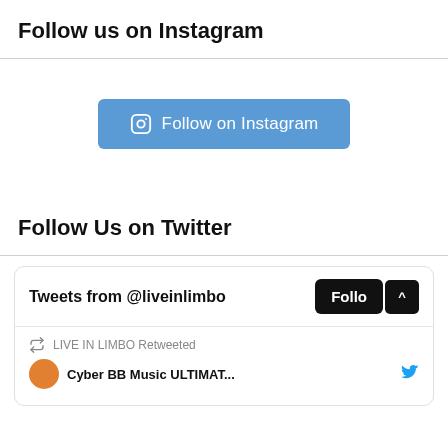Follow us on Instagram
[Figure (other): Follow on Instagram button with Instagram camera icon, blue background]
Follow Us on Twitter
Tweets from @liveinlimbo  Follo ^
LIVE IN LIMBO Retweeted
Cyber BB Music ULTIMAT...